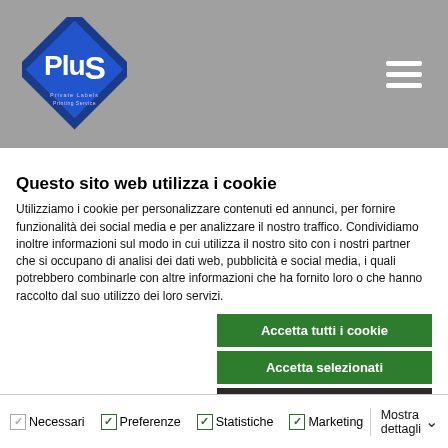[Figure (logo): Plus Private Labels logo — blue diamond shape with white 'PluS' text]
Questo sito web utilizza i cookie
Utilizziamo i cookie per personalizzare contenuti ed annunci, per fornire funzionalità dei social media e per analizzare il nostro traffico. Condividiamo inoltre informazioni sul modo in cui utilizza il nostro sito con i nostri partner che si occupano di analisi dei dati web, pubblicità e social media, i quali potrebbero combinarle con altre informazioni che ha fornito loro o che hanno raccolto dal suo utilizzo dei loro servizi.
Accetta tutti i cookie
Accetta selezionati
Usa solo i cookie necessari
Necessari  Preferenze  Statistiche  Marketing  Mostra dettagli